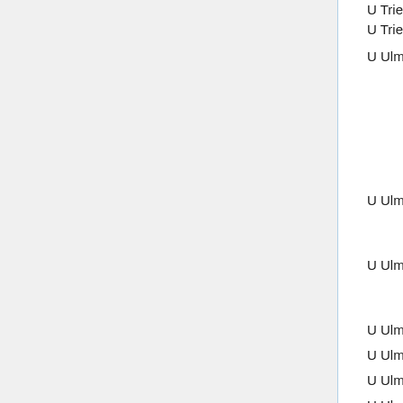| Institution | Type | Date |
| --- | --- | --- |
| U Trier | appl anal (W2) | Apr 22, 201… |
| U Trier | stoch (W2) | Feb 24, 2014 |
| U Ulm | biostat (W3) | Jul 7, 2011 |
| U Ulm | anal (W3) | Jun 15, 2012 |
| U Ulm | opt (W3 oL) | Sep 28, 201… |
| U Ulm | financial (W1) | Oct 25, 2012 |
| U Ulm | appl anal (W3 oL) | May 29, 201… |
| U Ulm | appl stoch (W3 oL) | Sep 13, 201… |
| U Ulm | stat (W3 oL) | Oct 17, 2013 |
| U Ulm | actuarial (W3 oL) | Mar 14, 2014 |